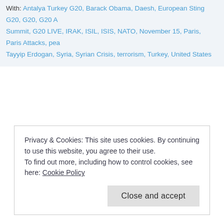With: Antalya Turkey G20, Barack Obama, Daesh, European Sting G20, G20, G20 A Summit, G20 LIVE, IRAK, ISIL, ISIS, NATO, November 15, Paris, Paris Attacks, pea Tayyip Erdogan, Syria, Syrian Crisis, terrorism, Turkey, United States
Privacy & Cookies: This site uses cookies. By continuing to use this website, you agree to their use.
To find out more, including how to control cookies, see here: Cookie Policy
Close and accept